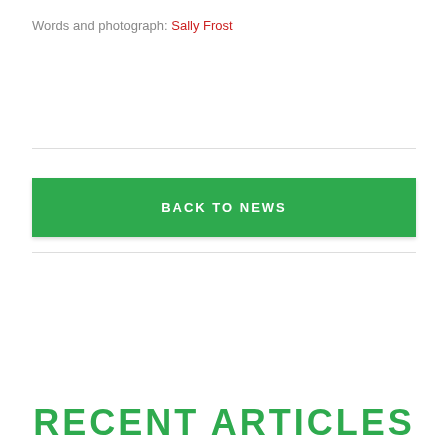Words and photograph: Sally Frost
BACK TO NEWS
RECENT ARTICLES